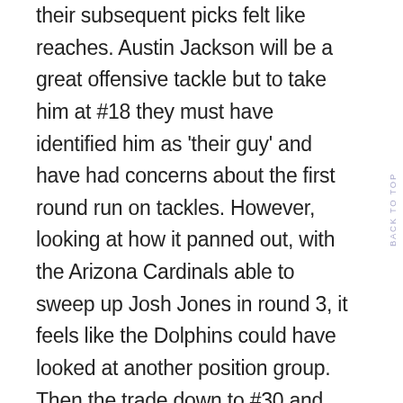their subsequent picks felt like reaches. Austin Jackson will be a great offensive tackle but to take him at #18 they must have identified him as 'their guy' and have had concerns about the first round run on tackles. However, looking at how it panned out, with the Arizona Cardinals able to sweep up Josh Jones in round 3, it feels like the Dolphins could have looked at another position group. Then the trade down to #30 and the selection of CB Noah Igbinoghene again felt rich. The Vikings took Jeff Gladney one spot back, and Jaylon Johnson and Trevon Diggs were both on the board. Igbinoghene is a natural athlete, with amazing family pedigree, but he is the very definition of raw talent. The Dolphins must be content that their veteran cornerback group,